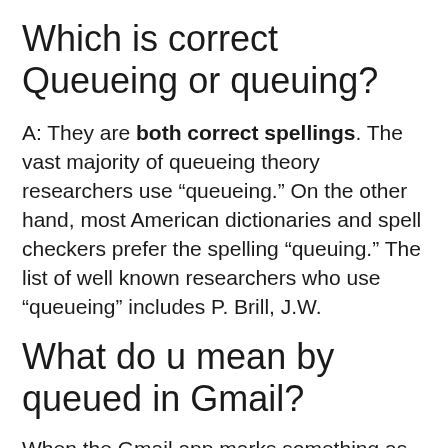Which is correct Queueing or queuing?
A: They are both correct spellings. The vast majority of queueing theory researchers use “queueing.” On the other hand, most American dictionaries and spell checkers prefer the spelling “queuing.” The list of well known researchers who use “queueing” includes P. Brill, J.W.
What do u mean by queued in Gmail?
When the Gmail app marks something as queued, it means that it’s not able to send the email immediately. ... The app